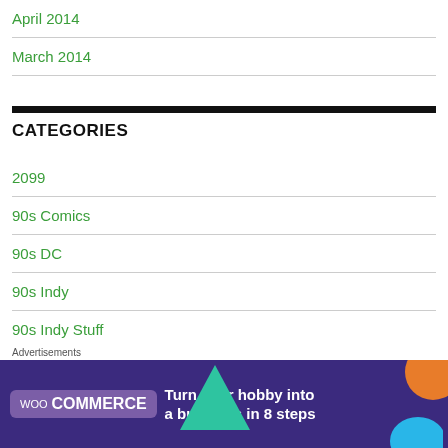April 2014
March 2014
CATEGORIES
2099
90s Comics
90s DC
90s Indy
90s Indy Stuff
90s Marvel
[Figure (infographic): WooCommerce advertisement banner: 'Turn your hobby into a business in 8 steps']